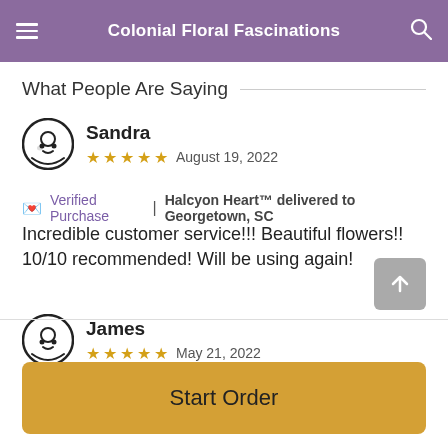Colonial Floral Fascinations
What People Are Saying
Sandra  ★★★★★  August 19, 2022
💌 Verified Purchase  |  Halcyon Heart™ delivered to Georgetown, SC
Incredible customer service!!! Beautiful flowers!! 10/10 recommended! Will be using again!
James  ★★★★★  May 21, 2022
Start Order